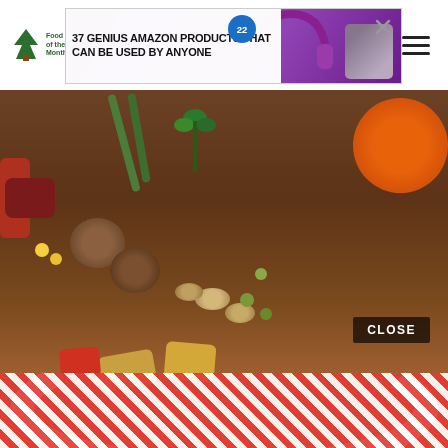[Figure (screenshot): Website screenshot showing a food blog page with a hamburger menu icon and logo in the top bar, an advertisement banner overlay showing '37 GENIUS AMAZON PRODUCTS THAT CAN BE USED BY ANYONE' with purple headphones and a badge showing '22', and a main food photograph of a bowl of vegetable stew with carrots, green beans, corn, beans, mushrooms, and potatoes garnished with parsley, served on a red checkered tablecloth. A 'CLOSE' button appears in the lower right of the photo.]